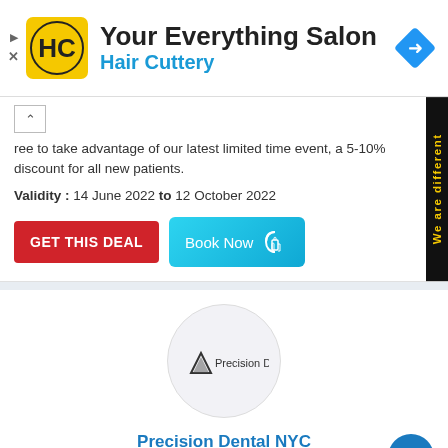[Figure (logo): Hair Cuttery HC logo on yellow square background with navigation arrow icon]
Your Everything Salon
Hair Cuttery
ree to take advantage of our latest limited time event, a 5-10% discount for all new patients.
Validity : 14 June 2022 to 12 October 2022
GET THIS DEAL
Book Now
We are different
[Figure (logo): Precision Dental NYC logo in circular frame]
Precision Dental NYC
New York City  New York